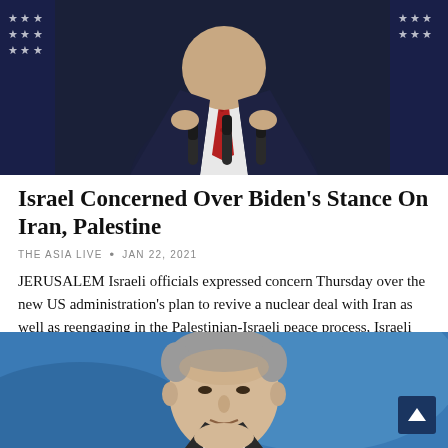[Figure (photo): A man in a dark suit and red tie speaking at microphones in front of American flags — upper portion of body visible]
Israel Concerned Over Biden’s Stance On Iran, Palestine
THE ASIA LIVE • Jan 22, 2021
JERUSALEM Israeli officials expressed concern Thursday over the new US administration’s plan to revive a nuclear deal with Iran as well as reengaging in the Palestinian-Israeli peace process, Israeli dailies reported. This follows the…
[Figure (photo): An older man with grey hair against a blue background, partially visible — bottom of page]